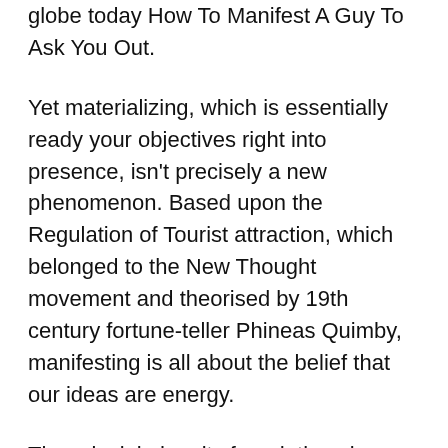globe today How To Manifest A Guy To Ask You Out.
Yet materializing, which is essentially ready your objectives right into presence, isn't precisely a new phenomenon. Based upon the Regulation of Tourist attraction, which belonged to the New Thought movement and theorised by 19th century fortune-teller Phineas Quimby, manifesting is all about the belief that our ideas are energy.
The principle has its foundations in numerous thoughtful and also religious customs, from Hermeticism as well as Transcendentalism to Hinduism, and has actually been expanded on by several Twentieth Century philosophers such as Napoleon Hill (Believe as well as Grow Rich, 1937).